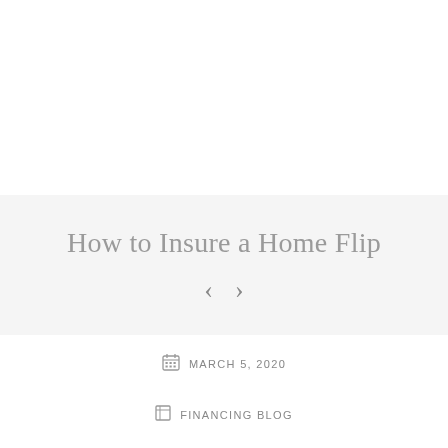How to Insure a Home Flip
< >
MARCH 5, 2020
FINANCING BLOG